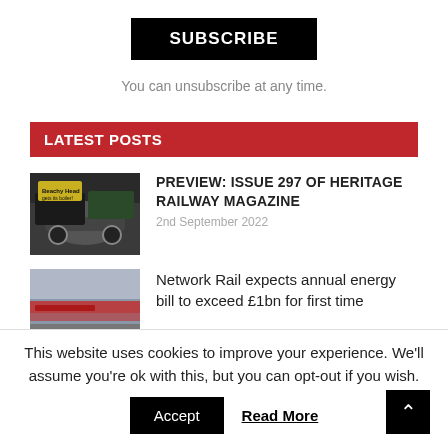SUBSCRIBE
You can unsubscribe at any time.
LATEST POSTS
[Figure (photo): Thumbnail of Heritage Railway Magazine Issue 297 cover showing a steam locomotive]
PREVIEW: ISSUE 297 OF HERITAGE RAILWAY MAGAZINE
2nd September 2022
[Figure (photo): Thumbnail of a red train in motion on railway tracks]
Network Rail expects annual energy bill to exceed £1bn for first time
This website uses cookies to improve your experience. We'll assume you're ok with this, but you can opt-out if you wish.
Accept
Read More